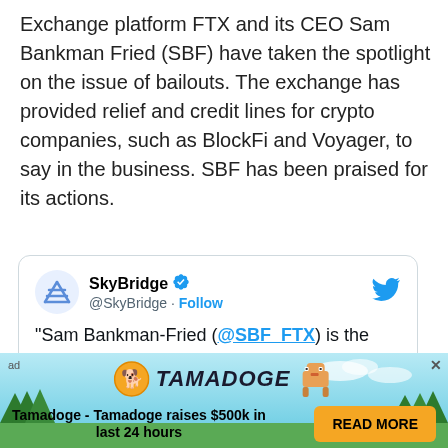Exchange platform FTX and its CEO Sam Bankman Fried (SBF) have taken the spotlight on the issue of bailouts. The exchange has provided relief and credit lines for crypto companies, such as BlockFi and Voyager, to say in the business. SBF has been praised for its actions.
[Figure (screenshot): Tweet from @SkyBridge account with verified badge and Follow link. Tweet text: "Sam Bankman-Fried (@SBF_FTX) is the new John Pierpont Morgan -- he is bailing out cryptocurrency markets the way the"]
[Figure (infographic): Advertisement banner for Tamadoge with sky/trees background. Text: 'ad', 'Tamadoge - Tamadoge raises $500k in last 24 hours', 'READ MORE' button in orange.]